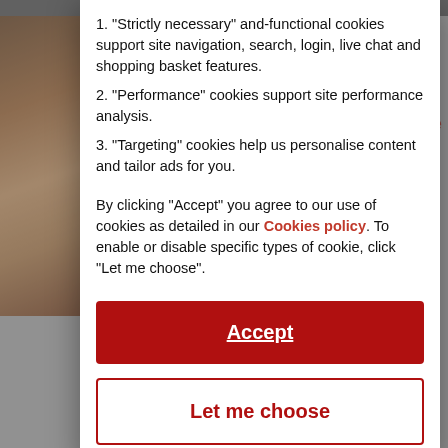[Figure (screenshot): Background webpage content partially visible behind cookie consent modal, showing a photo on the left, red text link on upper right, partial page title starting with 'Ec', a red block image in lower left, and bottom caption text.]
1. "Strictly necessary" and-functional cookies support site navigation, search, login, live chat and shopping basket features.
2. "Performance" cookies support site performance analysis.
3. "Targeting" cookies help us personalise content and tailor ads for you.
By clicking “Accept” you agree to our use of cookies as detailed in our Cookies policy. To enable or disable specific types of cookie, click “Let me choose”.
Accept
Let me choose